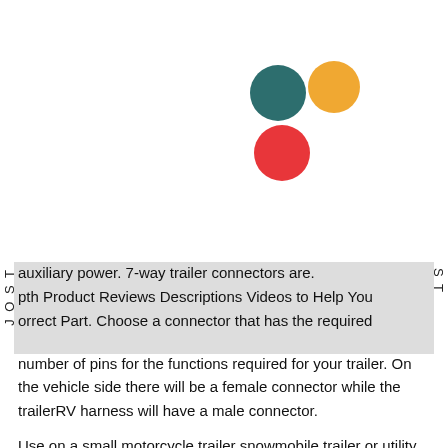[Figure (illustration): Three colored dots arranged in a triangular pattern: dark teal circle top-left, orange circle top-right, red circle bottom-center.]
auxiliary power. 7-way trailer connectors are.
pth Product Reviews Descriptions Videos to Help You
orrect Part. Choose a connector that has the required number of pins for the functions required for your trailer. On the vehicle side there will be a female connector while the trailerRV harness will have a male connector.
Use on a small motorcycle trailer snowmobile trailer or utility trailer. The source is at SW1 and 2-wire cable runs from there to